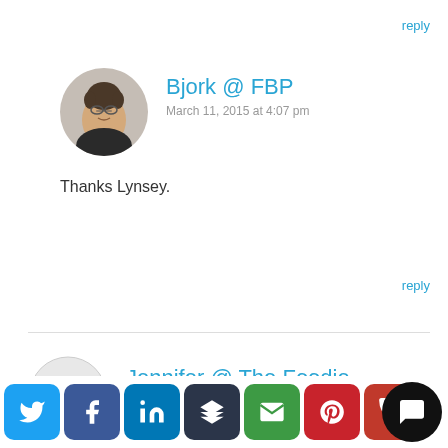reply
Bjork @ FBP
March 11, 2015 at 4:07 pm
Thanks Lynsey.
reply
Jennifer @ The Foodie
[Figure (illustration): Social sharing bar with Twitter, Facebook, LinkedIn, Buffer, Email, Pinterest, and phone icons, plus a chat bubble widget]